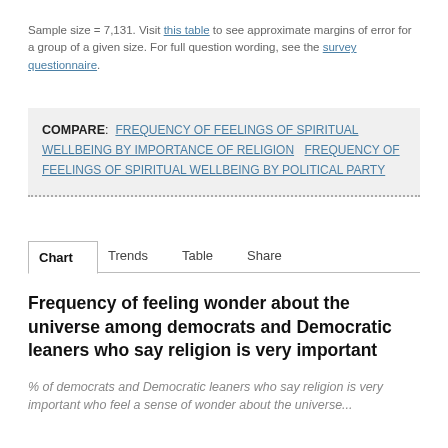Sample size = 7,131. Visit this table to see approximate margins of error for a group of a given size. For full question wording, see the survey questionnaire.
COMPARE: FREQUENCY OF FEELINGS OF SPIRITUAL WELLBEING BY IMPORTANCE OF RELIGION   FREQUENCY OF FEELINGS OF SPIRITUAL WELLBEING BY POLITICAL PARTY
Chart   Trends   Table   Share
Frequency of feeling wonder about the universe among democrats and Democratic leaners who say religion is very important
% of democrats and Democratic leaners who say religion is very important who feel a sense of wonder about the universe...